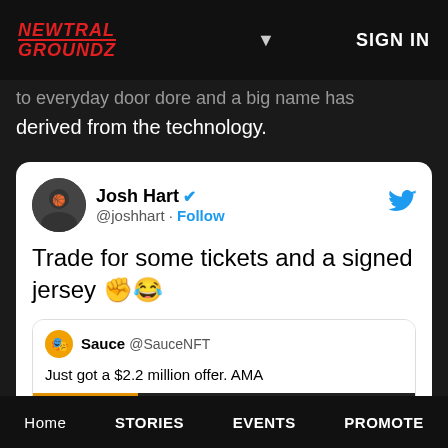NEWTRAL GROUNDZ | SIGN IN
to everyday door dore and a big name has derived from the technology.
[Figure (screenshot): Tweet from Josh Hart (@joshhart) with verified checkmark saying 'Trade for some tickets and a signed jersey ✊😂', quoting a tweet from Sauce @SauceNFT: 'Just got a $2.2 million offer. AMA', with an NFT preview showing #8811]
Home  STORIES  EVENTS  PROMOTE